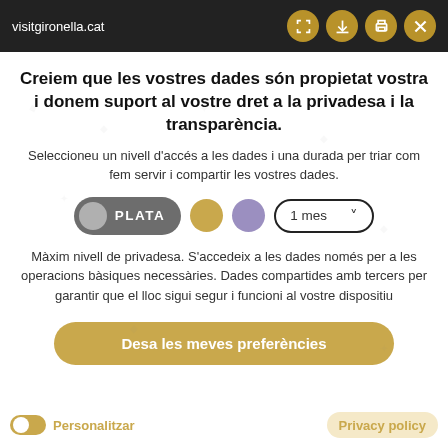visitgironella.cat
Creiem que les vostres dades són propietat vostra i donem suport al vostre dret a la privadesa i la transparència.
Seleccioneu un nivell d'accés a les dades i una durada per triar com fem servir i compartir les vostres dades.
[Figure (infographic): Privacy level selector showing PLATA (silver) toggle pill selected, gold circle, purple circle, and a '1 mes' dropdown selector]
Màxim nivell de privadesa. S'accedeix a les dades només per a les operacions bàsiques necessàries. Dades compartides amb tercers per garantir que el lloc sigui segur i funcioni al vostre dispositiu
Desa les meves preferències
Personalitzar    Privacy policy